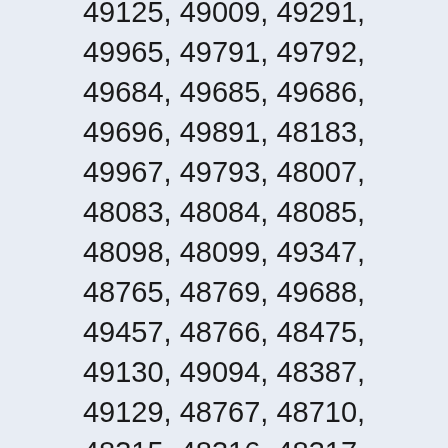49125, 49009, 49291, 49965, 49791, 49792, 49684, 49685, 49686, 49696, 49891, 48183, 49967, 49793, 48007, 48083, 48084, 48085, 48098, 48099, 49347, 48765, 48769, 49688, 49457, 48766, 48475, 49130, 49094, 48387, 49129, 48767, 48710, 48315, 48316, 48317, 48318, 49095, 49795, 48768, 49096, 48476, 48891, 49097, 49892, 49968, 49288, 49458